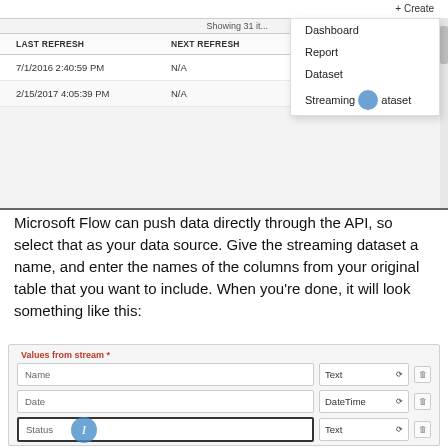[Figure (screenshot): Power BI web interface showing a dataset table with columns LAST REFRESH, NEXT REFRESH, API. Two data rows visible (7/1/2016 2:40:59 PM and 2/15/2017 4:05:39 PM, both N/A). A dropdown menu is open showing options: Dashboard, Report, Dataset, Streaming Dataset. A cursor circle appears on Streaming Dataset. A + Create button is in the top right.]
Microsoft Flow can push data directly through the API, so select that as your data source. Give the streaming dataset a name, and enter the names of the columns from your original table that you want to include. When you're done, it will look something like this:
[Figure (screenshot): Power BI streaming dataset form showing 'Values from stream' section with three rows: Name (Text), Date (DateTime), Status (Text). A cursor I-beam icon appears on the Status row.]